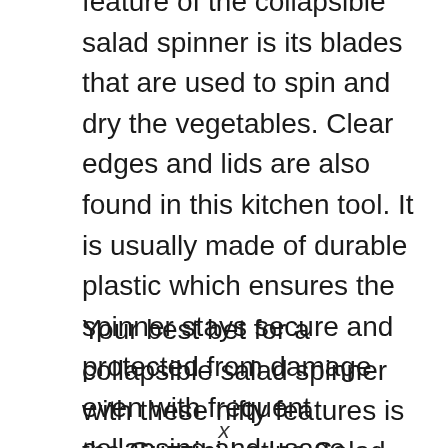feature of the collapsible salad spinner is its blades that are used to spin and dry the vegetables. Clear edges and lids are also found in this kitchen tool. It is usually made of durable plastic which ensures the spinner stays secure and protected from damage even with frequent collapsing and usage.
Your best bet for a collapsible salad spinner with these nifty features is the Guzzini Latina Salad Spinner at $35.99. It comes with a collapsible handle which saves you some storage space and allows other objects to be placed on its flat-top surface.